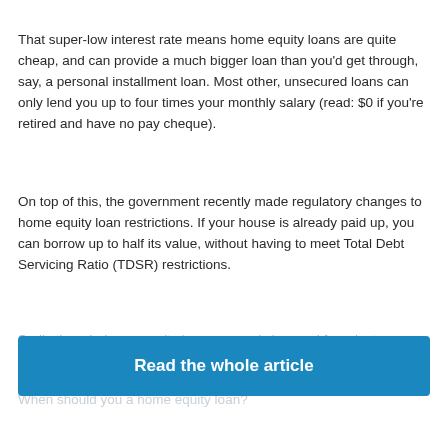That super-low interest rate means home equity loans are quite cheap, and can provide a much bigger loan than you'd get through, say, a personal installment loan. Most other, unsecured loans can only lend you up to four times your monthly salary (read: $0 if you're retired and have no pay cheque).
On top of this, the government recently made regulatory changes to home equity loan restrictions. If your house is already paid up, you can borrow up to half its value, without having to meet Total Debt Servicing Ratio (TDSR) restrictions.
Sadly though, home equity loans can only be used for private properties.
When should you a home equity loan?
Read the whole article